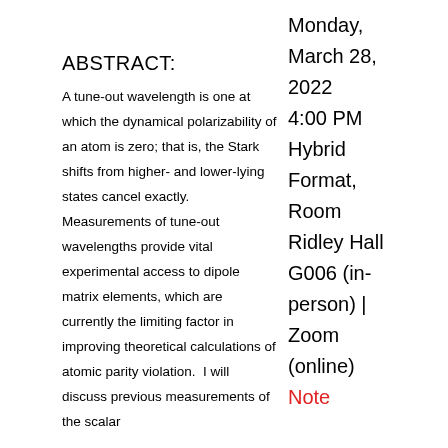ABSTRACT:
A tune-out wavelength is one at which the dynamical polarizability of an atom is zero; that is, the Stark shifts from higher- and lower-lying states cancel exactly.  Measurements of tune-out wavelengths provide vital experimental access to dipole matrix elements, which are currently the limiting factor in improving theoretical calculations of atomic parity violation.  I will discuss previous measurements of the scalar
Monday, March 28, 2022
4:00 PM
Hybrid Format, Room Ridley Hall G006 (in-person) | Zoom (online)
Note